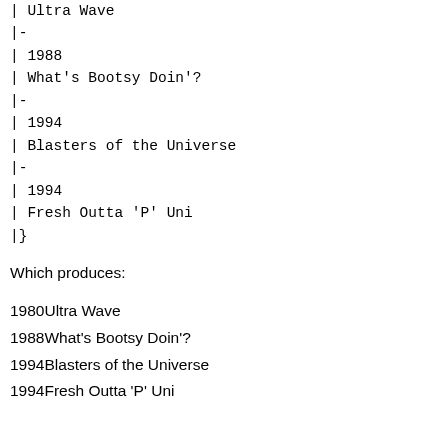| Ultra Wave
|-
| 1988
| What's Bootsy Doin'?
|-
| 1994
| Blasters of the Universe
|-
| 1994
| Fresh Outta 'P' Uni
|}
Which produces:
1980Ultra Wave
1988What's Bootsy Doin'?
1994Blasters of the Universe
1994Fresh Outta 'P' Uni